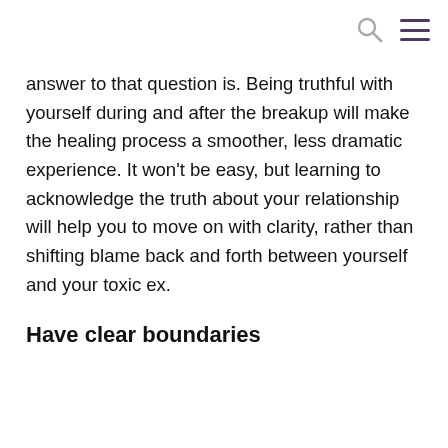answer to that question is. Being truthful with yourself during and after the breakup will make the healing process a smoother, less dramatic experience. It won't be easy, but learning to acknowledge the truth about your relationship will help you to move on with clarity, rather than shifting blame back and forth between yourself and your toxic ex.
Have clear boundaries